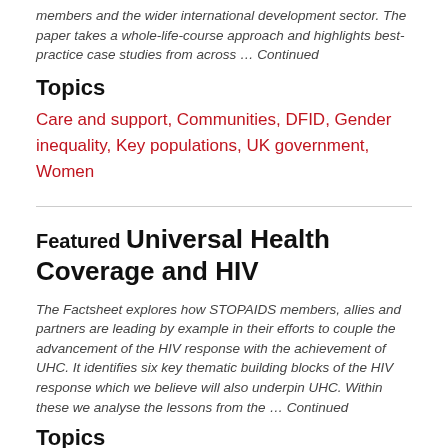members and the wider international development sector. The paper takes a whole-life-course approach and highlights best-practice case studies from across … Continued
Topics
Care and support, Communities, DFID, Gender inequality, Key populations, UK government, Women
Featured Universal Health Coverage and HIV
The Factsheet explores how STOPAIDS members, allies and partners are leading by example in their efforts to couple the advancement of the HIV response with the achievement of UHC. It identifies six key thematic building blocks of the HIV response which we believe will also underpin UHC. Within these we analyse the lessons from the … Continued
Topics